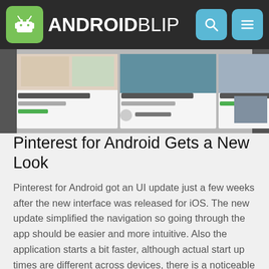ANDROIDBLIP
[Figure (screenshot): Screenshot of Pinterest for Android app showing cards with food images and article titles including 'Oven-Baked Blueberry Pancakes', 'Road Trip: Big Sur on the Pacific Coast Highway', and other content cards in a grid layout.]
Pinterest for Android Gets a New Look
Pinterest for Android got an UI update just a few weeks after the new interface was released for iOS. The new update simplified the navigation so going through the app should be easier and more intuitive. Also the application starts a bit faster, although actual start up times are different across devices, there is a noticeable difference.